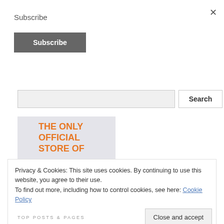Subscribe
Subscribe
[Figure (screenshot): Search input field and Search button]
[Figure (illustration): Banner with orange bold text: THE ONLY OFFICIAL STORE OF]
Privacy & Cookies: This site uses cookies. By continuing to use this website, you agree to their use.
To find out more, including how to control cookies, see here: Cookie Policy
Close and accept
TOP POSTS & PAGES